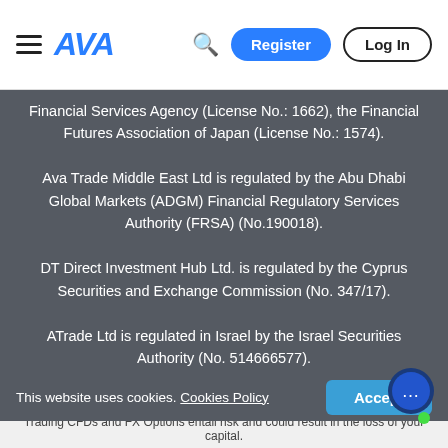AVA — Register | Log In
Financial Services Agency (License No.: 1662), the Financial Futures Association of Japan (License No.: 1574). Ava Trade Middle East Ltd is regulated by the Abu Dhabi Global Markets (ADGM) Financial Regulatory Services Authority (FRSA) (No.190018). DT Direct Investment Hub Ltd. is regulated by the Cyprus Securities and Exchange Commission (No. 347/17). ATrade Ltd is regulated in Israel by the Israel Securities Authority (No. 514666577). Read AvaTrade risk disclosure before trading Forex, CFD's, and/or FX Options. Forex, CFD and FX Options trading involves substantial risk of loss and is not suitable for all investors.
This website uses cookies. Cookies Policy
Trading CFDs and FX Options entail risk and could result in the loss of your capital.